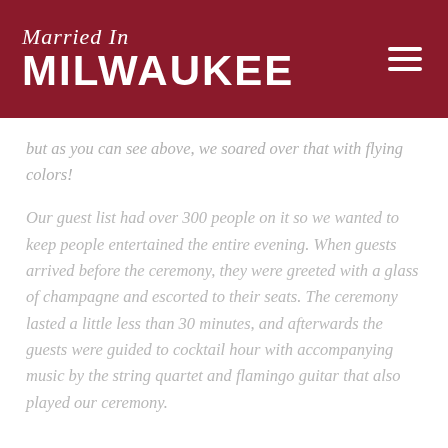Married In MILWAUKEE
but as you can see above, we soared over that with flying colors!
Our guest list had over 300 people on it so we wanted to keep people entertained the entire evening. When guests arrived before the ceremony, they were greeted with a glass of champagne and escorted to their seats. The ceremony lasted a little less than 30 minutes, and afterwards the guests were guided to cocktail hour with accompanying music by the string quartet and flamingo guitar that also played our ceremony.